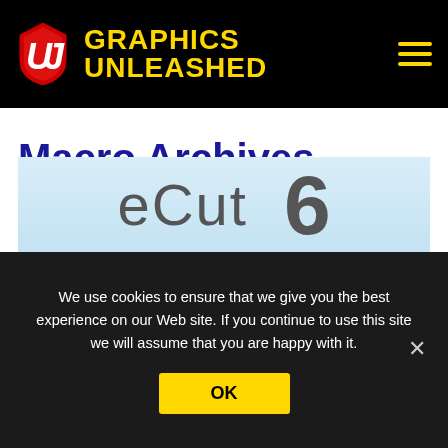GRAPHICS UNLEASHED
Macro Archives
Learn about the macros that can make your productivity soar!
[Figure (screenshot): eCut 6 banner image with light blue background showing the text 'eCut' and large number '6']
We use cookies to ensure that we give you the best experience on our Web site. If you continue to use this site we will assume that you are happy with it.